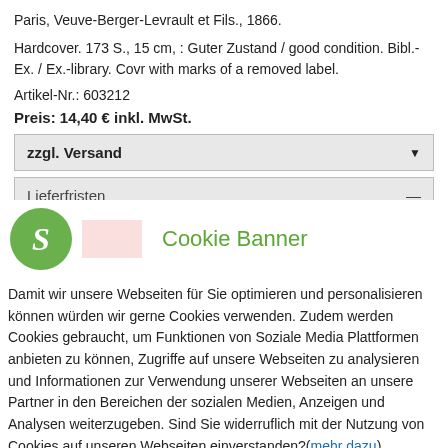Paris, Veuve-Berger-Levrault et Fils., 1866.
Hardcover. 173 S., 15 cm, : Guter Zustand / good condition. Bibl.-Ex. / Ex.-library. Covr with marks of a removed label.
Artikel-Nr.: 603212
Preis: 14,40 € inkl. MwSt.
zzgl. Versand
Lieferfristen
[Figure (logo): Green circular logo with white italic S letter]
Cookie Banner
Damit wir unsere Webseiten für Sie optimieren und personalisieren können würden wir gerne Cookies verwenden. Zudem werden Cookies gebraucht, um Funktionen von Soziale Media Plattformen anbieten zu können, Zugriffe auf unsere Webseiten zu analysieren und Informationen zur Verwendung unserer Webseiten an unsere Partner in den Bereichen der sozialen Medien, Anzeigen und Analysen weiterzugeben. Sind Sie widerruflich mit der Nutzung von Cookies auf unseren Webseiten einverstanden?(mehr dazu)
Ausgewählte akzeptieren
Alle akzeptieren